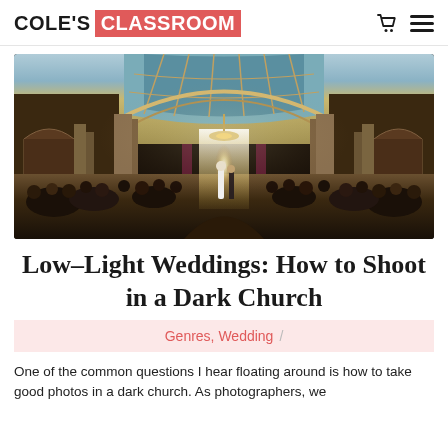COLE'S CLASSROOM
[Figure (photo): Interior of an ornate church during a wedding ceremony. The church has tall arched ceilings with blue and gold painted coffers, large arched windows and alcoves with columns, and pews filled with wedding guests viewed from behind. At the far end, the bride and groom stand at the altar with bright backlighting.]
Low–Light Weddings: How to Shoot in a Dark Church
Genres, Wedding /
One of the common questions I hear floating around is how to take good photos in a dark church. As photographers, we